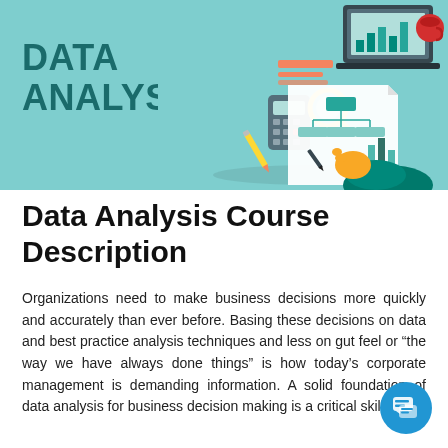[Figure (illustration): Data Analysis banner with teal background showing bold 'DATA ANALYSIS' text on the left, and flat-style illustration on the right with a laptop, calculator, magnifying glass, pencil, organizational chart, bar chart, and a hand writing on paper with a pen.]
Data Analysis Course Description
Organizations need to make business decisions more quickly and accurately than ever before. Basing these decisions on data and best practice analysis techniques and less on gut feel or “the way we have always done things” is how today’s corporate management is demanding information. A solid foundation of data analysis for business decision making is a critical skill you